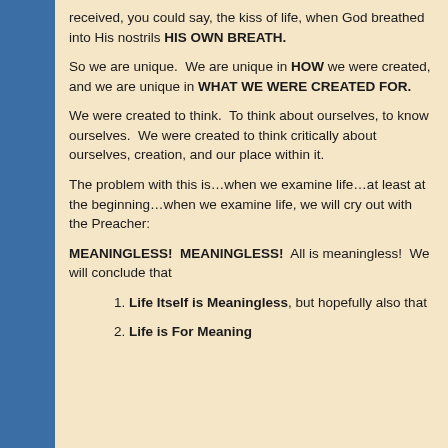received, you could say, the kiss of life, when God breathed into His nostrils HIS OWN BREATH.
So we are unique.  We are unique in HOW we were created, and we are unique in WHAT WE WERE CREATED FOR.
We were created to think.  To think about ourselves, to know ourselves.  We were created to think critically about ourselves, creation, and our place within it.
The problem with this is…when we examine life…at least at the beginning…when we examine life, we will cry out with the Preacher:
MEANINGLESS!  MEANINGLESS!  All is meaningless!  We will conclude that
Life Itself is Meaningless, but hopefully also that
Life is For Meaning